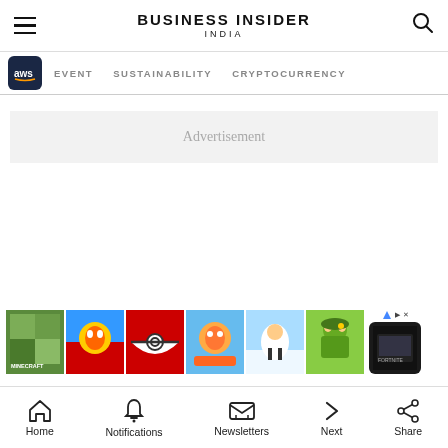BUSINESS INSIDER INDIA
EVENT   SUSTAINABILITY   CRYPTOCURRENCY
Advertisement
[Figure (screenshot): Row of mobile game app icons including Minecraft, Subway Surfers, Pokemon, Toca Boca, and others with an advertisement badge]
Home   Notifications   Newsletters   Next   Share